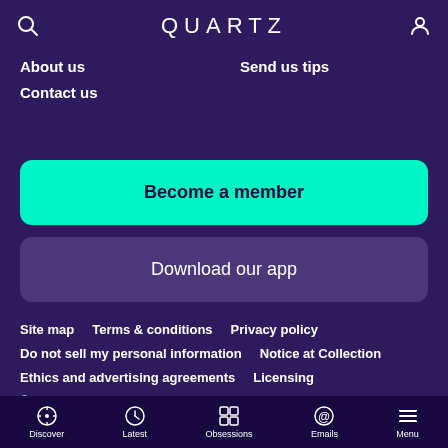QUARTZ
About us
Send us tips
Contact us
Become a member
Download our app
Site map   Terms & conditions   Privacy policy
Do not sell my personal information   Notice at Collection
Ethics and advertising agreements   Licensing
© 2022 G/O Media, Inc.
↑ Beam me up, Scotty
Discover   Latest   Obsessions   Emails   Menu